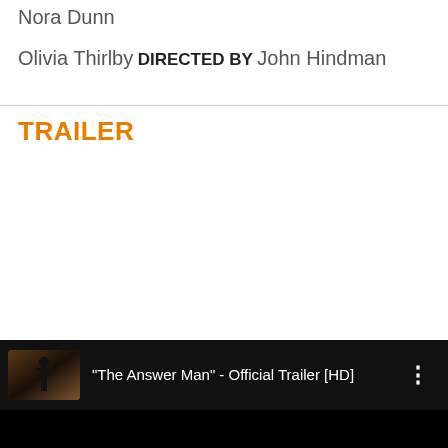Nora Dunn
Olivia Thirlby
DIRECTED BY
John Hindman
TRAILER
[Figure (screenshot): YouTube video entry showing thumbnail and title: "The Answer Man" - Official Trailer [HD] with three-dot menu icon on black background]